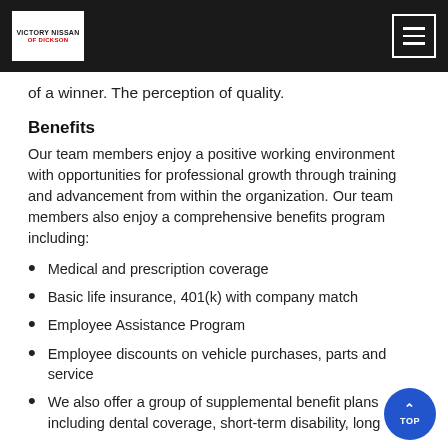Victory Nissan of Dickson
of a winner. The perception of quality.
Benefits
Our team members enjoy a positive working environment with opportunities for professional growth through training and advancement from within the organization. Our team members also enjoy a comprehensive benefits program including:
Medical and prescription coverage
Basic life insurance, 401(k) with company match
Employee Assistance Program
Employee discounts on vehicle purchases, parts and service
We also offer a group of supplemental benefit plans including dental coverage, short-term disability, long